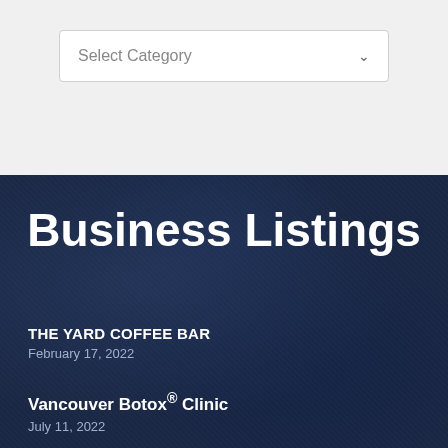[Figure (screenshot): A dropdown UI element with 'Select Category' placeholder text and a downward chevron arrow, on a light gray background]
Business Listings
THE YARD COFFEE BAR
February 17, 2022
Vancouver Botox® Clinic
July 11, 2022